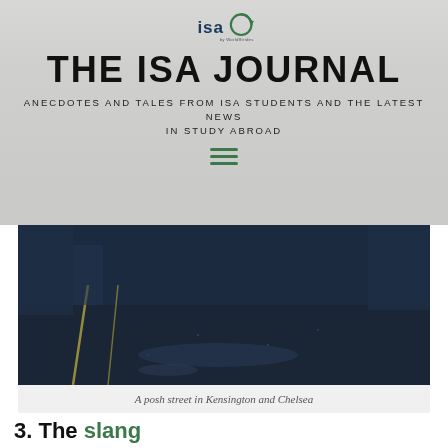[Figure (logo): ISA by WorldStrides logo — circular arrow with 'isa' text]
THE ISA JOURNAL
ANECDOTES AND TALES FROM ISA STUDENTS AND THE LATEST NEWS IN STUDY ABROAD
[Figure (photo): Dark nighttime photo of a posh street in Kensington and Chelsea]
A posh street in Kensington and Chelsea
3. The slang